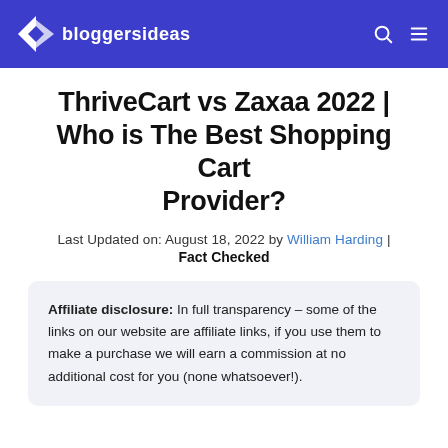bloggersideas
ThriveCart vs Zaxaa 2022 | Who is The Best Shopping Cart Provider?
Last Updated on: August 18, 2022 by William Harding | Fact Checked
Affiliate disclosure: In full transparency – some of the links on our website are affiliate links, if you use them to make a purchase we will earn a commission at no additional cost for you (none whatsoever!).